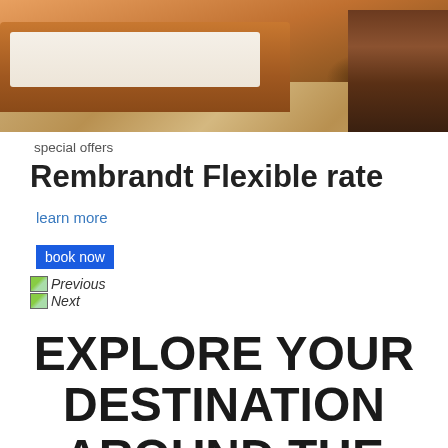[Figure (photo): Hotel room photo showing a bed with orange/brown wooden frame and white mattress on a patterned carpet, with a dark wooden dresser/cabinet visible on the right side]
special offers
Rembrandt Flexible rate
learn more
book now
Previous
Next
EXPLORE YOUR DESTINATION AROUND THE